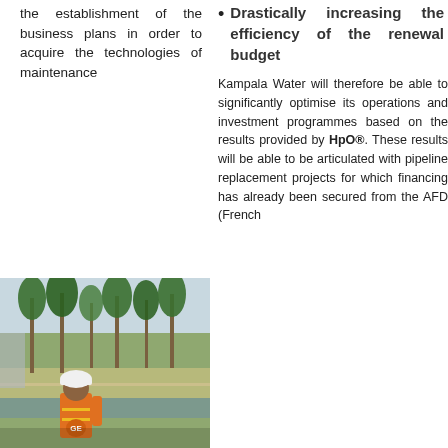the establishment of the business plans in order to acquire the technologies of maintenance
Drastically increasing the efficiency of the renewal budget
Kampala Water will therefore be able to significantly optimise its operations and investment programmes based on the results provided by HpO®. These results will be able to be articulated with pipeline replacement projects for which financing has already been secured from the AFD (French
[Figure (photo): Outdoor photo showing a water treatment or infrastructure facility with palm trees, a walkway/canal, and a worker in an orange safety vest and white hard hat in the foreground.]